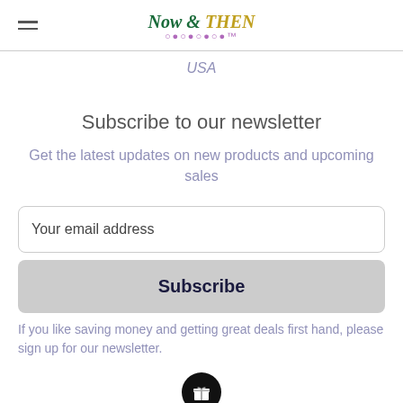Now & Then Collectables — USA
Subscribe to our newsletter
Get the latest updates on new products and upcoming sales
Your email address
Subscribe
If you like saving money and getting great deals first hand, please sign up for our newsletter.
[Figure (illustration): Black circular icon with a gift/present symbol in white]